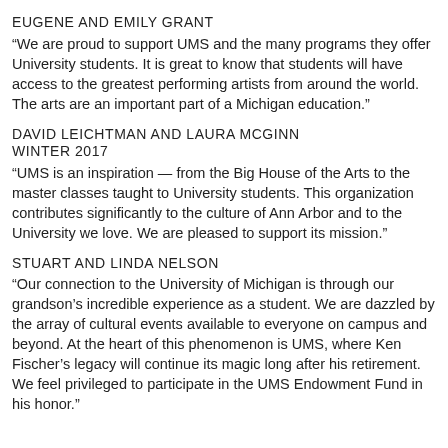EUGENE AND EMILY GRANT
“We are proud to support UMS and the many programs they offer University students. It is great to know that students will have access to the greatest performing artists from around the world. The arts are an important part of a Michigan education.”
DAVID LEICHTMAN AND LAURA MCGINN
WINTER 2017
“UMS is an inspiration — from the Big House of the Arts to the master classes taught to University students. This organization contributes significantly to the culture of Ann Arbor and to the University we love. We are pleased to support its mission.”
STUART AND LINDA NELSON
“Our connection to the University of Michigan is through our grandson’s incredible experience as a student. We are dazzled by the array of cultural events available to everyone on campus and beyond. At the heart of this phenomenon is UMS, where Ken Fischer’s legacy will continue its magic long after his retirement. We feel privileged to participate in the UMS Endowment Fund in his honor.”